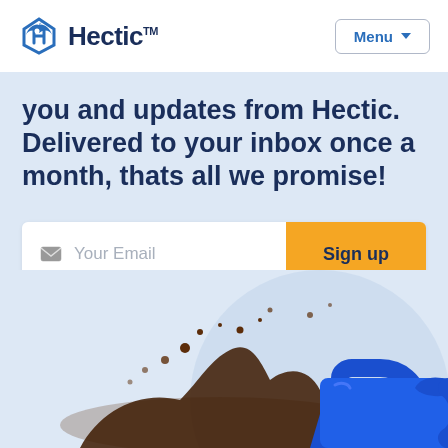Hectic™  Menu
you and updates from Hectic. Delivered to your inbox once a month, thats all we promise!
Your Email  Sign up
By submitting this form, you agree to the processing of your personal data by Hectic as described in the Privacy Policy.
[Figure (photo): A blue coffee mug with coffee splashing out dramatically, set against a light blue circular background on a pale blue gradient background.]